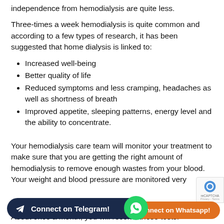independence from hemodialysis are quite less.
Three-times a week hemodialysis is quite common and according to a few types of research, it has been suggested that home dialysis is linked to:
Increased well-being
Better quality of life
Reduced symptoms and less cramping, headaches as well as shortness of breath
Improved appetite, sleeping patterns, energy level and the ability to concentrate.
Your hemodialysis care team will monitor your treatment to make sure that you are getting the right amount of hemodialysis to remove enough wastes from your blood. Your weight and blood pressure are monitored very
About once a month, you will receive these tests.